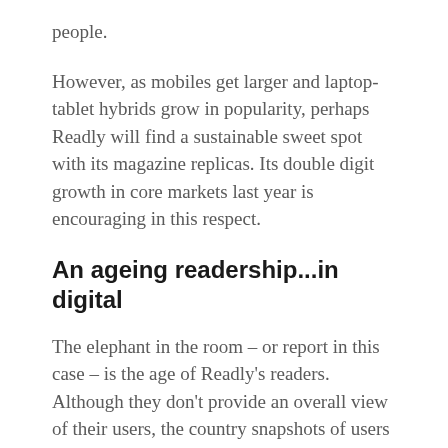people.
However, as mobiles get larger and laptop-tablet hybrids grow in popularity, perhaps Readly will find a sustainable sweet spot with its magazine replicas. Its double digit growth in core markets last year is encouraging in this respect.
An ageing readership...in digital
The elephant in the room – or report in this case – is the age of Readly's readers. Although they don't provide an overall view of their users, the country snapshots of users who actively read the magazines consistently skew towards the older age